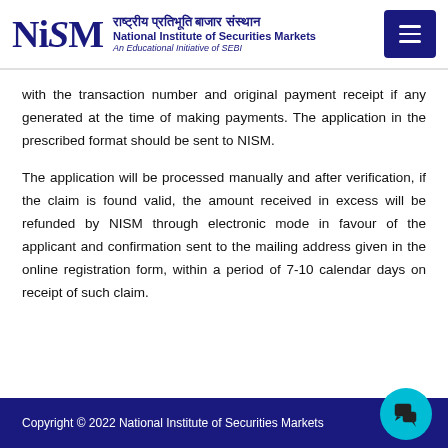NISM - National Institute of Securities Markets - An Educational Initiative of SEBI
with the transaction number and original payment receipt if any generated at the time of making payments. The application in the prescribed format should be sent to NISM.
The application will be processed manually and after verification, if the claim is found valid, the amount received in excess will be refunded by NISM through electronic mode in favour of the applicant and confirmation sent to the mailing address given in the online registration form, within a period of 7-10 calendar days on receipt of such claim.
Copyright © 2022 National Institute of Securities Markets